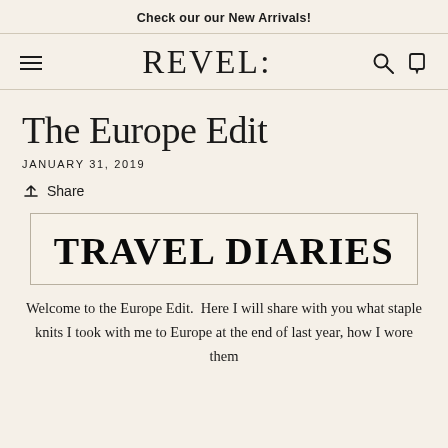Check our our New Arrivals!
REVEL:
The Europe Edit
JANUARY 31, 2019
Share
[Figure (illustration): Travel Diaries banner with bold serif text on cream background with border]
Welcome to the Europe Edit.  Here I will share with you what staple knits I took with me to Europe at the end of last year, how I wore them